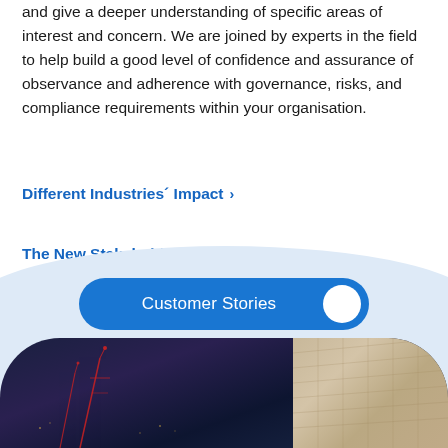and give a deeper understanding of specific areas of interest and concern. We are joined by experts in the field to help build a good level of confidence and assurance of observance and adherence with governance, risks, and compliance requirements within your organisation.
Different Industries' Impact >
The New Stakeholders in Organisations >
[Figure (infographic): Light blue rounded section with 'Customer Stories' toggle button (dark blue pill shape with white circle on right) on a light blue background. Below is a dark photo of antennas/city lights at night on the left and an architectural building on the right, with a rounded top border.]